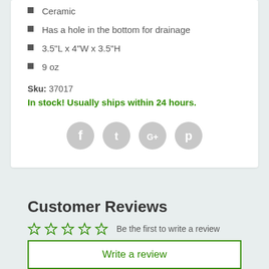Ceramic
Has a hole in the bottom for drainage
3.5"L x 4"W x 3.5"H
9 oz
Sku: 37017
In stock! Usually ships within 24 hours.
[Figure (other): Social sharing icons: Facebook, Twitter, Google+, Pinterest]
Customer Reviews
Be the first to write a review
Write a review